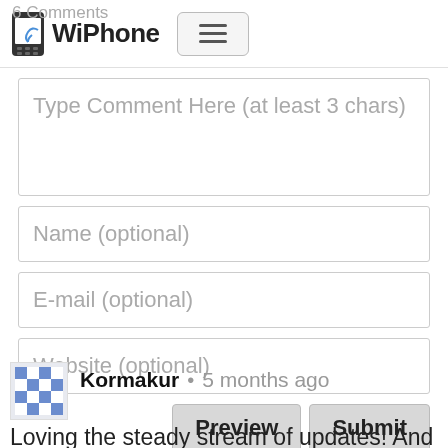6 Comments — WiPhone
Type Comment Here (at least 3 chars)
Name (optional)
E-mail (optional)
Website (optional)
Preview   Submit
Kormakur • 5 months ago
Loving the steady stream of updates! And chance i can get added to